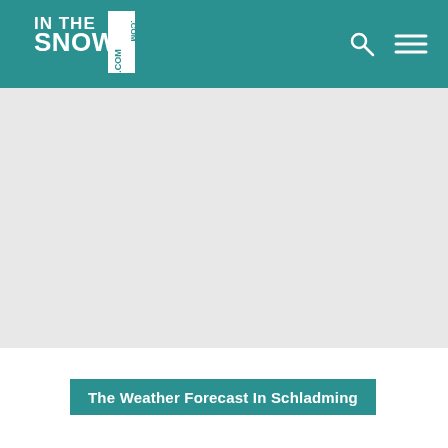INTHESNOW.COM
[Figure (other): Large gray placeholder hero image area]
The Weather Forecast In Schladming